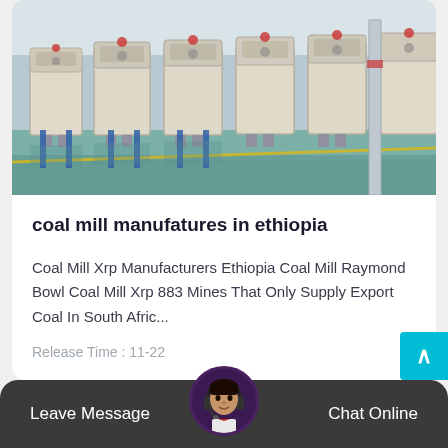[Figure (photo): Factory interior showing rows of large white industrial coal mill machines on a teal/green polished floor with a yellow line marking]
coal mill manufatures in ethiopia
Coal Mill Xrp Manufacturers Ethiopia Coal Mill Raymond Bowl Coal Mill Xrp 883 Mines That Only Supply Export Coal In South Afric...
Release Time : 11-22
Leave Message   Chat Online